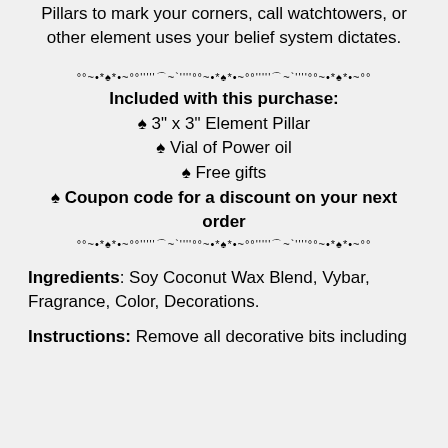Pillars to mark your corners, call watchtowers, or other element uses your belief system dictates.
°°~•*♠*•~°°'''''⌒~`''''°°~•*♠*•~°°'''''⌒~`''''°°~•*♠*•~°°
Included with this purchase:
♠ 3" x 3" Element Pillar
♠ Vial of Power oil
♠ Free gifts
♠ Coupon code for a discount on your next order
°°~•*♠*•~°°'''''⌒~`''''°°~•*♠*•~°°'''''⌒~`''''°°~•*♠*•~°°
Ingredients: Soy Coconut Wax Blend, Vybar, Fragrance, Color, Decorations.
Instructions: Remove all decorative bits including